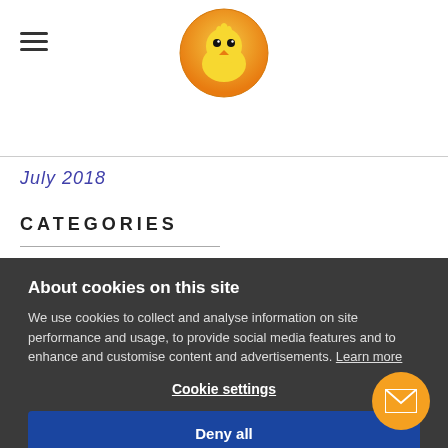[Figure (logo): Chick logo — yellow cartoon chick face inside an orange circle, centered at top of page]
July 2018
CATEGORIES
About cookies on this site
We use cookies to collect and analyse information on site performance and usage, to provide social media features and to enhance and customise content and advertisements. Learn more
Cookie settings
Deny all
Allow all cookies